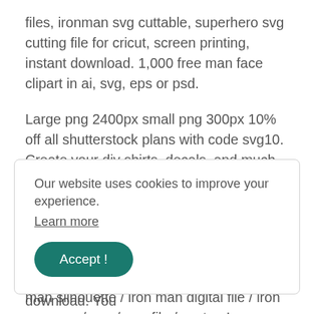files, ironman svg cuttable, superhero svg cutting file for cricut, screen printing, instant download. 1,000 free man face clipart in ai, svg, eps or psd.
Large png 2400px small png 300px 10% off all shutterstock plans with code svg10. Create your diy shirts, decals, and much more using your cricut explore, silhouette and other cutting machines. Iron man skin face svg png icon free download (#506608
20 iron man / ironman / high quality/ iron man silhouette / iron man digital file / iron man svg / eps / png file / vector. Iron man svg svg files for cricut and silhouette. Iron man
Our website uses cookies to improve your experience.
Learn more
Accept !
svg, dxf, cricut, silhouette cut file, instant download. You